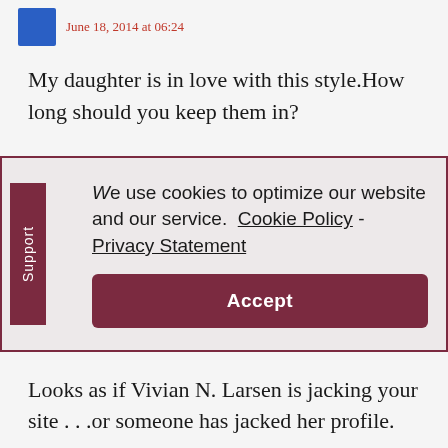June 18, 2014 at 06:24
My daughter is in love with this style.How long should you keep them in?
We use cookies to optimize our website and our service.  Cookie Policy - Privacy Statement
Accept
Looks as if Vivian N. Larsen is jacking your site . . .or someone has jacked her profile.